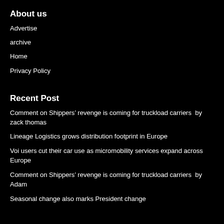About us
Advertise
archive
Home
Privacy Policy
Recent Post
Comment on Shippers’ revenge is coming for truckload carriers  by zack thomas
Lineage Logistics grows distribution footprint in Europe
Voi users cut their car use as micromobility services expand across Europe
Comment on Shippers’ revenge is coming for truckload carriers  by Adam
Seasonal change also marks President change